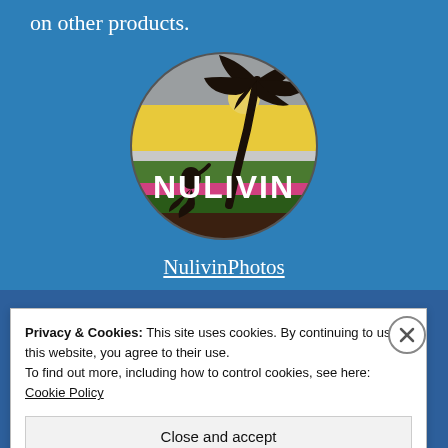on other products.
[Figure (logo): NulivinPhotos circular logo featuring a palm tree silhouette, a figure kneeling, colorful horizontal bands (gray, yellow, green, pink, brown), and the text NULIVIN in white bold letters across the center.]
NulivinPhotos
Privacy & Cookies: This site uses cookies. By continuing to use this website, you agree to their use.
To find out more, including how to control cookies, see here: Cookie Policy
Close and accept